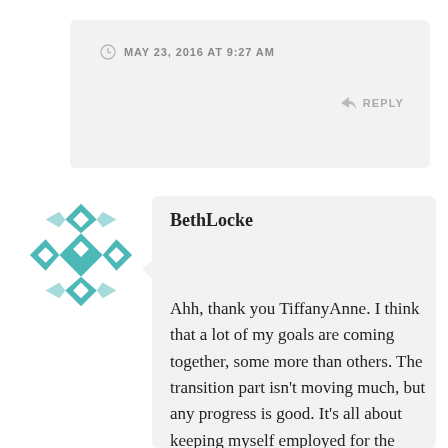MAY 23, 2016 AT 9:27 AM
REPLY
BethLocke
Ahh, thank you TiffanyAnne. I think that a lot of my goals are coming together, some more than others. The transition part isn't moving much, but any progress is good. It's all about keeping myself employed for the time being.